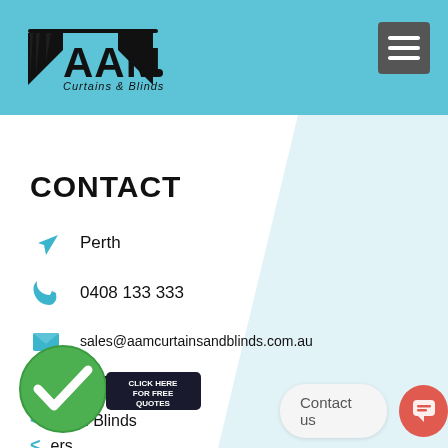AAM Curtains & Blinds
CONTACT
Perth
0408 133 333
sales@aamcurtainsandblinds.com.au
SERVICES
inium Blinds
ers
r Curtains
Timber Venetian
[Figure (logo): AAM Curtains & Blinds logo with curtain icon]
Contact us